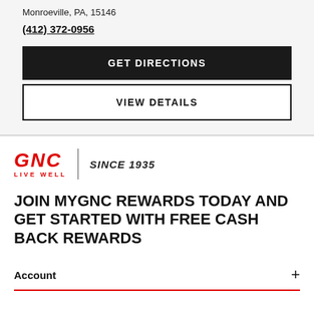Monroeville, PA, 15146
(412) 372-0956
GET DIRECTIONS
VIEW DETAILS
[Figure (logo): GNC Live Well logo with 'SINCE 1935' tagline]
JOIN MYGNC REWARDS TODAY AND GET STARTED WITH FREE CASH BACK REWARDS
Account